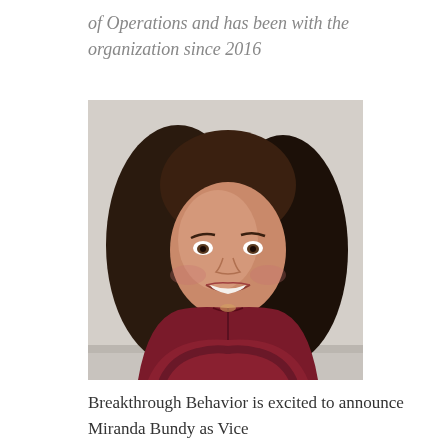of Operations and has been with the organization since 2016
[Figure (photo): Professional headshot of a smiling woman with long dark wavy hair, wearing a dark red/maroon top, arms crossed, against a light grey background.]
Breakthrough Behavior is excited to announce Miranda Bundy as Vice